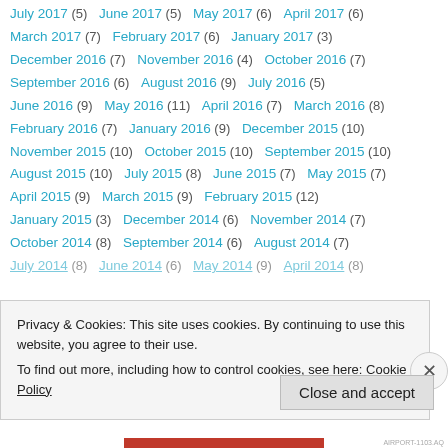July 2017 (5)   June 2017 (5)   May 2017 (6)   April 2017 (6)
March 2017 (7)   February 2017 (6)   January 2017 (3)
December 2016 (7)   November 2016 (4)   October 2016 (7)
September 2016 (6)   August 2016 (9)   July 2016 (5)
June 2016 (9)   May 2016 (11)   April 2016 (7)   March 2016 (8)
February 2016 (7)   January 2016 (9)   December 2015 (10)
November 2015 (10)   October 2015 (10)   September 2015 (10)
August 2015 (10)   July 2015 (8)   June 2015 (7)   May 2015 (7)
April 2015 (9)   March 2015 (9)   February 2015 (12)
January 2015 (3)   December 2014 (6)   November 2014 (7)
October 2014 (8)   September 2014 (6)   August 2014 (7)
July 2014 (8)   June 2014 (6)   May 2014 (9)   April 2014 (8)
Privacy & Cookies: This site uses cookies. By continuing to use this website, you agree to their use.
To find out more, including how to control cookies, see here: Cookie Policy
Close and accept